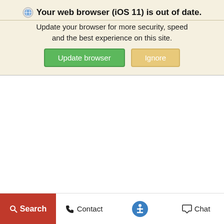Your web browser (iOS 11) is out of date.
Update your browser for more security, speed and the best experience on this site.
[Figure (screenshot): Two buttons: green 'Update browser' and tan/gold 'Ignore']
View Disclaimer
Search  Contact  [accessibility icon]  Chat